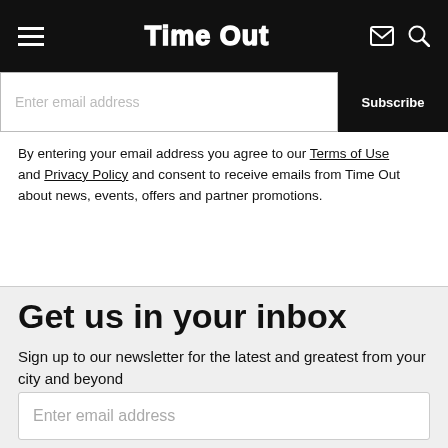Time Out
[Figure (screenshot): Partially visible email input field with 'Enter email address' placeholder and dark 'Subscribe' button on the right]
By entering your email address you agree to our Terms of Use and Privacy Policy and consent to receive emails from Time Out about news, events, offers and partner promotions.
Get us in your inbox
Sign up to our newsletter for the latest and greatest from your city and beyond
[Figure (screenshot): Email input field with placeholder text 'Enter email address']
[Figure (screenshot): Red 'Subscribe now' button]